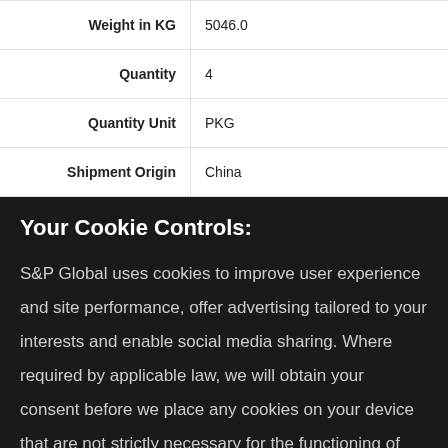| Weight in KG | 5046.0 |
| Quantity | 4 |
| Quantity Unit | PKG |
| Shipment Origin | China |
Your Cookie Controls:
S&P Global uses cookies to improve user experience and site performance, offer advertising tailored to your interests and enable social media sharing. Where required by applicable law, we will obtain your consent before we place any cookies on your device that are not strictly necessary for the functioning of our websites. By clicking "Accept All Cookies", you agree to our use of cookies. Learn about our cookies and how to